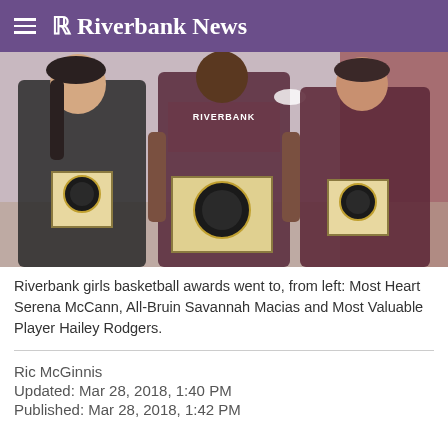R Riverbank News
[Figure (photo): Three female basketball players standing side by side, each holding a Riverbank High School award plaque. Left player wears a black hoodie, center player wears a Riverbank sleeveless jersey, right player wears a maroon hoodie.]
Riverbank girls basketball awards went to, from left: Most Heart Serena McCann, All-Bruin Savannah Macias and Most Valuable Player Hailey Rodgers.
Ric McGinnis
Updated: Mar 28, 2018, 1:40 PM
Published: Mar 28, 2018, 1:42 PM